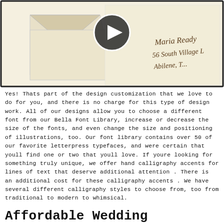[Figure (photo): Photo of a cream-colored envelope with cursive handwritten address reading 'Maria Ready, 56 South Village L, Abilene, T...' and a video play button (dark circle with triangle) overlaid at the top center.]
Yes! Thats part of the design customization that we love to do for you, and there is no charge for this type of design work. All of our designs allow you to choose a different font from our Bella Font Library, increase or decrease the size of the fonts, and even change the size and positioning of illustrations, too. Our font library contains over 50 of our favorite letterpress typefaces, and were certain that youll find one or two that youll love. If youre looking for something truly unique, we offer hand calligraphy accents for lines of text that deserve additional attention . There is an additional cost for these calligraphy accents . We have several different calligraphy styles to choose from, too from traditional to modern to whimsical.
Affordable Wedding Invitations...